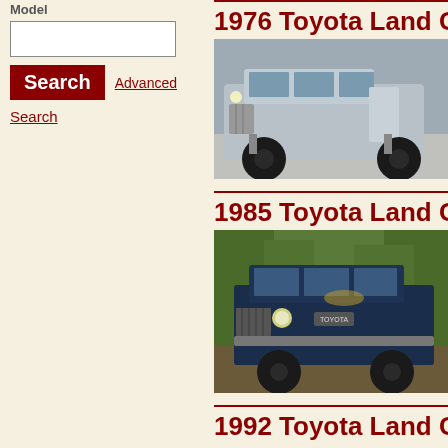Model
[search input box]
Search   Advanced Search
Search
1976 Toyota Land Cru...
[Figure (photo): Silver lifted Toyota Land Cruiser FJ40 with black wheels, driver door open, parked in a lot with cars in background]
1985 Toyota Land Cru...
[Figure (photo): Dark blue Toyota Land Cruiser FJ60 parked on a wooded/forest road, front three-quarter view]
1992 Toyota Land Cru...